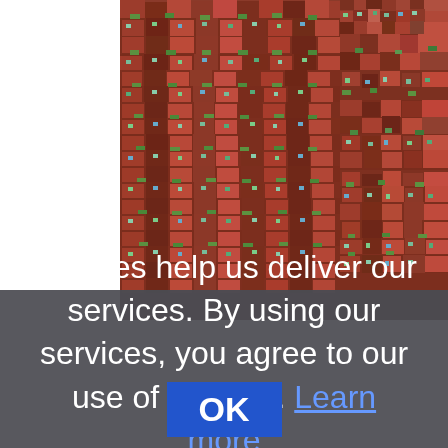[Figure (photo): Dense cluster of reddish-brown multi-story buildings packed tightly on a hillside, with some green vegetation visible between structures. Upper right portion of image visible.]
Cookies help us deliver our services. By using our services, you agree to our use of cookies. Learn more
OK